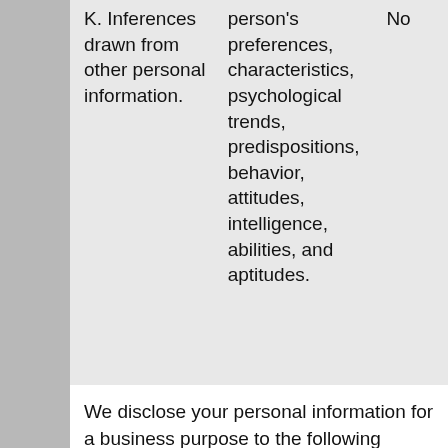| Category | Description | Sold |
| --- | --- | --- |
| K. Inferences drawn from other personal information. | person's preferences, characteristics, psychological trends, predispositions, behavior, attitudes, intelligence, abilities, and aptitudes. | No |
We disclose your personal information for a business purpose to the following categories of third parties: